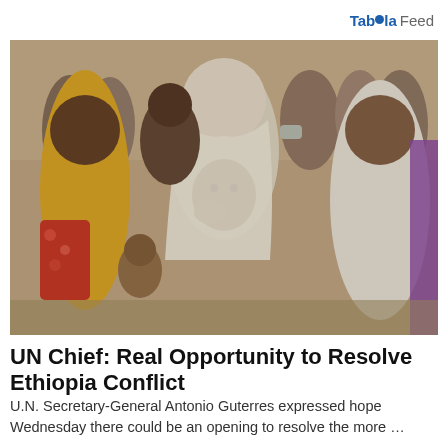Taboola Feed
[Figure (photo): Crowd of people including women wearing headscarves and a woman holding a baby, appearing distressed, in an outdoor setting in Ethiopia]
UN Chief: Real Opportunity to Resolve Ethiopia Conflict
U.N. Secretary-General Antonio Guterres expressed hope Wednesday there could be an opening to resolve the more ...